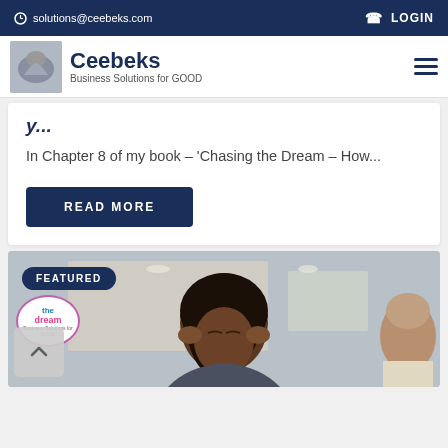solutions@ceebeks.com | LOGIN
[Figure (logo): Ceebeks logo with handshake image and text 'Ceebeks Business Solutions for GOOD']
In Chapter 8 of my book – 'Chasing the Dream – How...
READ MORE
[Figure (photo): Featured section showing a woman with her hands on her temples appearing stressed, with a FEATURED badge overlay and 'the Dream' badge logo. A back-to-top arrow button is visible at the bottom left.]